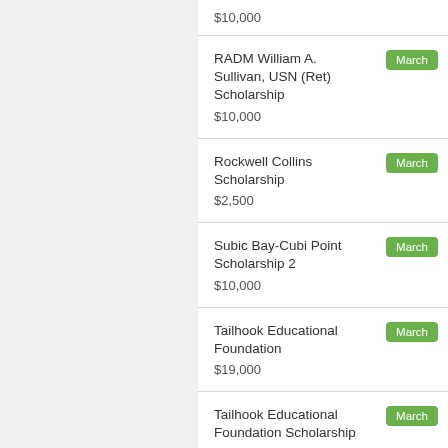$10,000
RADM William A. Sullivan, USN (Ret) Scholarship
$10,000 — March
Rockwell Collins Scholarship
$2,500 — March
Subic Bay-Cubi Point Scholarship 2
$10,000 — March
Tailhook Educational Foundation
$19,000 — March
Tailhook Educational Foundation Scholarship — March